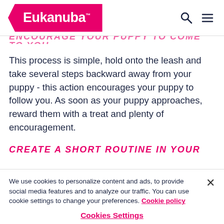Eukanuba
This process is simple, hold onto the leash and take several steps backward away from your puppy - this action encourages your puppy to follow you. As soon as your puppy approaches, reward them with a treat and plenty of encouragement.
CREATE A SHORT ROUTINE IN YOUR
We use cookies to personalize content and ads, to provide social media features and to analyze our traffic. You can use cookie settings to change your preferences. Cookie policy
Cookies Settings